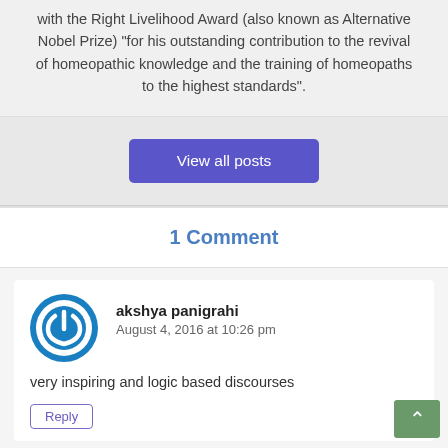with the Right Livelihood Award (also known as Alternative Nobel Prize) "for his outstanding contribution to the revival of homeopathic knowledge and the training of homeopaths to the highest standards".
View all posts
1 Comment
akshya panigrahi
August 4, 2016 at 10:26 pm
very inspiring and logic based discourses
Reply